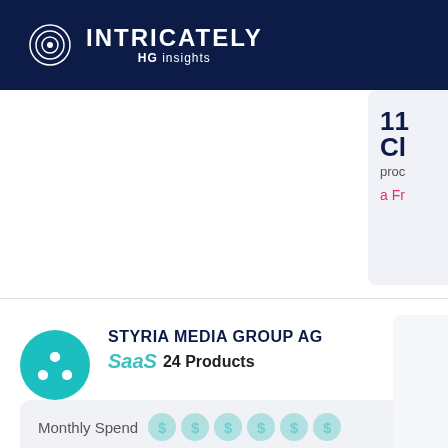INTRICATELY HG Insights
11 Cl prod a Fr
STYRIA MEDIA GROUP AG
SaaS 24 Products
Monthly Spend
See how much Styria Media Group AG spends on Saas, the products they use, and the applications they operate.